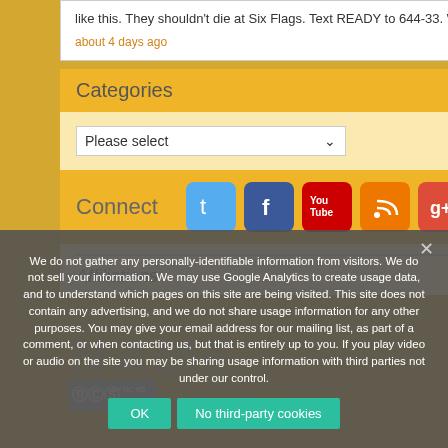like this. They shouldn't die at Six Flags. Text READY to 644-33. We deserve elected…
about 4 days ago
Categories
Please select
Connect
[Figure (illustration): Social media icons: Twitter, Facebook, YouTube, RSS, Google+]
Affiliations
We do not gather any personally-identifiable information from visitors. We do not sell your information. We may use Google Analytics to create usage data, and to understand which pages on this site are being visited. This site does not contain any advertising, and we do not share usage information for any other purposes. You may give your email address for our mailing list, as part of a comment, or when contacting us, but that is entirely up to you. If you play video or audio on the site you may be sharing usage information with third parties not under our control.
OK
No third-party cookies